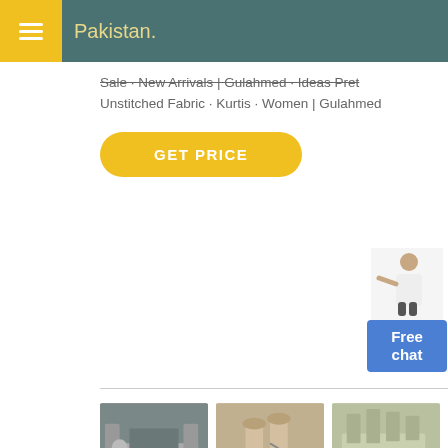Pakistan
Sale · New Arrivals | Gulahmed · Ideas Pret Unstitched Fabric · Kurtis · Women | Gulahmed
GET PRICE
[Figure (illustration): Free chat widget with person silhouette and blue Free chat box]
[Figure (photo): Three industrial machinery/equipment photos side by side]
Gul Ahmed Farbrics - SlideShare
Feb 28, 2015 · Gul ahmed farbrics. 13. CORPORATE PROFILE – BUSINESS ACTIVITIES TEXTILES Textile In the textile field, activities start from the spinning